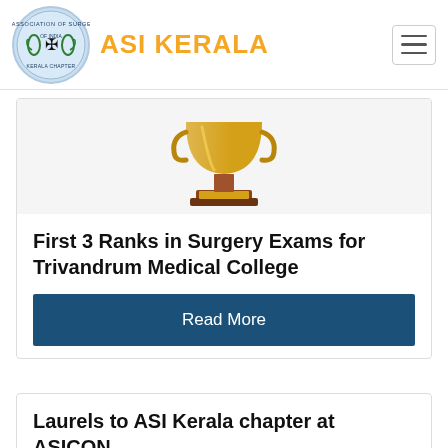ASI KERALA
[Figure (illustration): Trophy/award illustration on a stand]
First 3 Ranks in Surgery Exams for Trivandrum Medical College
Read More
Laurels to ASI Kerala chapter at ASICON